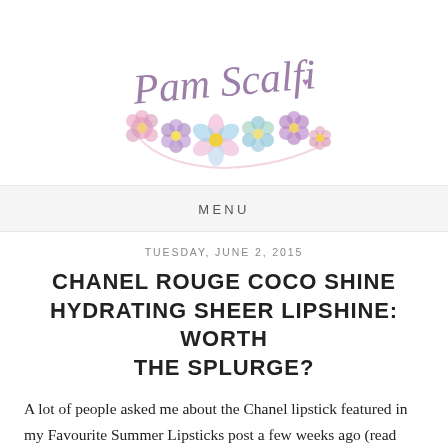[Figure (logo): Pam Scalfi blog logo with cursive script text and watercolor flowers]
MENU
TUESDAY, JUNE 2, 2015
CHANEL ROUGE COCO SHINE HYDRATING SHEER LIPSHINE: WORTH THE SPLURGE?
A lot of people asked me about the Chanel lipstick featured in my Favourite Summer Lipsticks post a few weeks ago (read here) so here I am to show you more closely two lipsticks from the same